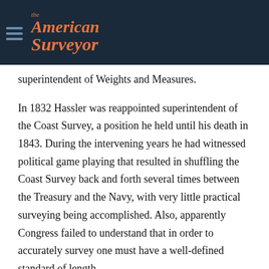The American Surveyor
superintendent of Weights and Measures.
In 1832 Hassler was reappointed superintendent of the Coast Survey, a position he held until his death in 1843. During the intervening years he had witnessed political game playing that resulted in shuffling the Coast Survey back and forth several times between the Treasury and the Navy, with very little practical surveying being accomplished. Also, apparently Congress failed to understand that in order to accurately survey one must have a well-defined standard of length.
To proceed with the survey Hassler could not and